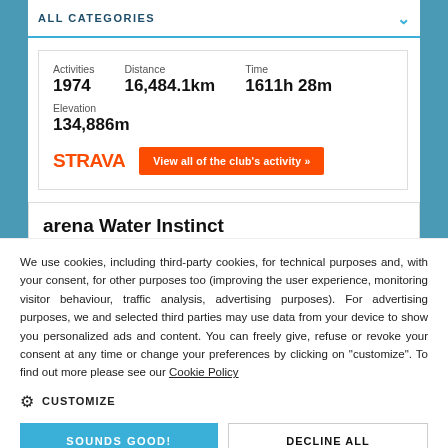ALL CATEGORIES
| Activities | Distance | Time | Elevation |
| --- | --- | --- | --- |
| 1974 | 16,484.1km | 1611h 28m | 134,886m |
[Figure (logo): STRAVA logo in orange]
View all of the club's activity »
arena Water Instinct
We use cookies, including third-party cookies, for technical purposes and, with your consent, for other purposes too (improving the user experience, monitoring visitor behaviour, traffic analysis, advertising purposes). For advertising purposes, we and selected third parties may use data from your device to show you personalized ads and content. You can freely give, refuse or revoke your consent at any time or change your preferences by clicking on "customize". To find out more please see our Cookie Policy
⚙ CUSTOMIZE
SOUNDS GOOD!
DECLINE ALL